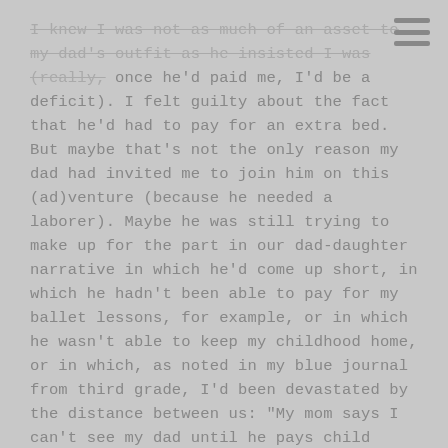I knew I was not as much of an asset to my dad's outfit as he insisted I was (really, once he'd paid me, I'd be a deficit). I felt guilty about the fact that he'd had to pay for an extra bed. But maybe that's not the only reason my dad had invited me to join him on this (ad)venture (because he needed a laborer). Maybe he was still trying to make up for the part in our dad-daughter narrative in which he'd come up short, in which he hadn't been able to pay for my ballet lessons, for example, or in which he wasn't able to keep my childhood home, or in which, as noted in my blue journal from third grade, I'd been devastated by the distance between us: "My mom says I can't see my dad until he pays child support. He owes us $100." Maybe this was his most recent effort to make sure I kept a roof over my head. And maybe I had similar motives. Maybe it wasn't just the